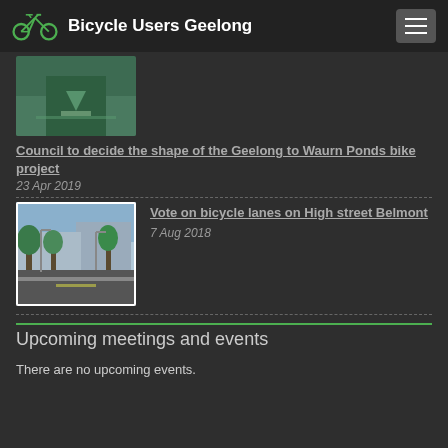Bicycle Users Geelong
[Figure (photo): Top portion of a bike lane photo showing green painted road surface with white markings]
Council to decide the shape of the Geelong to Waurn Ponds bike project
23 Apr 2019
[Figure (photo): Rendered illustration of High Street Belmont showing bicycle lanes, street trees, and shops]
Vote on bicycle lanes on High street Belmont
7 Aug 2018
Upcoming meetings and events
There are no upcoming events.